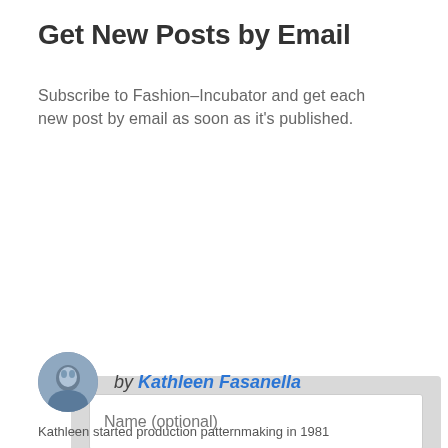Get New Posts by Email
Subscribe to Fashion–Incubator and get each new post by email as soon as it's published.
[Figure (screenshot): Email subscription form with Name (optional) field, Email field, and Subscribe button on a light grey background]
[Figure (photo): Circular avatar photo of Kathleen Fasanella]
by Kathleen Fasanella
Kathleen started production patternmaking in 1981